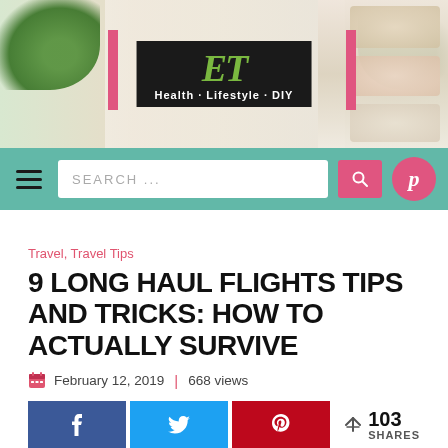[Figure (photo): Blog header photo showing open magazines/cookbooks with green herbs (kale/parsley) on both sides, a dark logo box center reading 'ET Health · Lifestyle · DIY' with pink accent bars]
[Figure (screenshot): Navigation bar with teal/green background, hamburger menu icon, search box with 'SEARCH ...' placeholder text, pink search button with magnifying glass icon, pink circular Pinterest button]
Travel, Travel Tips
9 LONG HAUL FLIGHTS TIPS AND TRICKS: HOW TO ACTUALLY SURVIVE
February 12, 2019   668 views
[Figure (infographic): Social share buttons row: dark blue Facebook 'f' button, light blue Twitter 't' button, red Pinterest 'p' button, share count showing 103 SHARES]